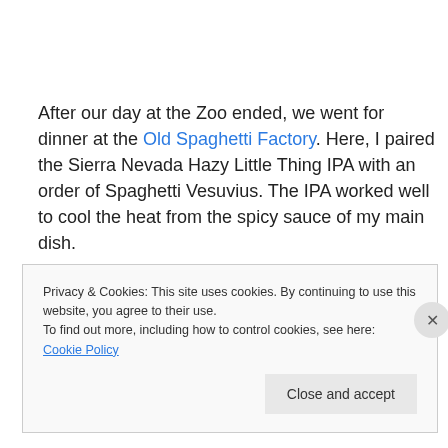After our day at the Zoo ended, we went for dinner at the Old Spaghetti Factory. Here, I paired the Sierra Nevada Hazy Little Thing IPA with an order of Spaghetti Vesuvius. The IPA worked well to cool the heat from the spicy sauce of my main dish.
Part three of our travels includes journeys to Temecula and Carlsbad, for beer, wine and other shenanigans!
Privacy & Cookies: This site uses cookies. By continuing to use this website, you agree to their use. To find out more, including how to control cookies, see here: Cookie Policy